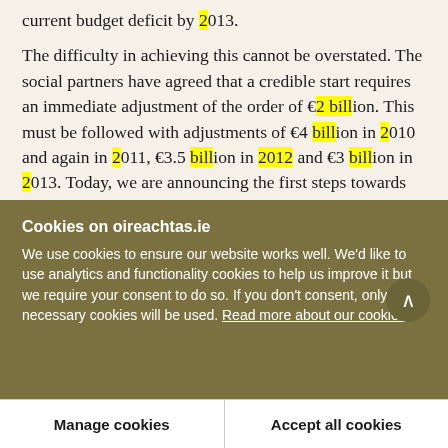current budget deficit by 2013.
The difficulty in achieving this cannot be overstated. The social partners have agreed that a credible start requires an immediate adjustment of the order of €2 billion. This must be followed with adjustments of €4 billion in 2010 and again in 2011, €3.5 billion in 2012 and €3 billion in 2013. Today, we are announcing the first steps towards achieving those targets, and coming to the House at the first available opportunity to do so.
Cookies on oireachtas.ie
We use cookies to ensure our website works well. We'd like to use analytics and functionality cookies to help us improve it but we require your consent to do so. If you don't consent, only necessary cookies will be used. Read more about our cookies
Manage cookies
Accept all cookies